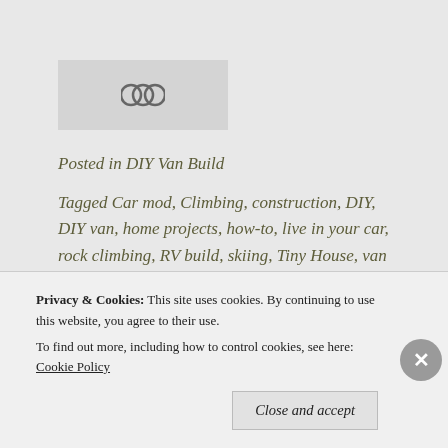[Figure (other): Chain link / share icon in a light gray box]
Posted in DIY Van Build
Tagged Car mod, Climbing, construction, DIY, DIY van, home projects, how-to, live in your car, rock climbing, RV build, skiing, Tiny House, van conversion
Privacy & Cookies: This site uses cookies. By continuing to use this website, you agree to their use. To find out more, including how to control cookies, see here: Cookie Policy
Close and accept